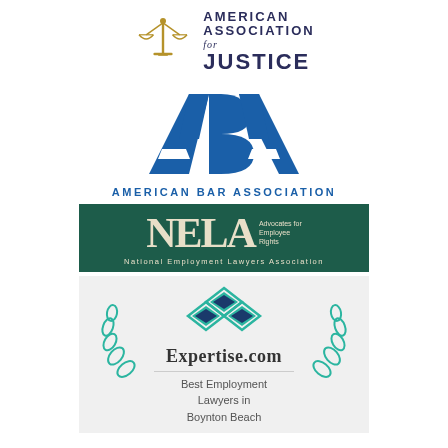[Figure (logo): American Association for Justice logo with scales of justice icon and text]
[Figure (logo): American Bar Association (ABA) logo with blue triangle letterform and text]
[Figure (logo): NELA National Employment Lawyers Association logo on dark teal background]
[Figure (logo): Expertise.com Best Employment Lawyers in Boynton Beach badge with teal diamond and laurel wreath]